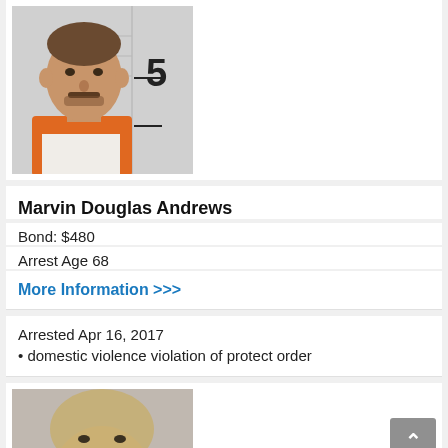[Figure (photo): Mugshot of a man in orange jumpsuit against measurement background with number 5 visible]
Marvin Douglas Andrews
Bond: $480
Arrest Age 68
More Information >>>
Arrested Apr 16, 2017
domestic violence violation of protect order
[Figure (photo): Partial mugshot of another individual, cropped at bottom of page]